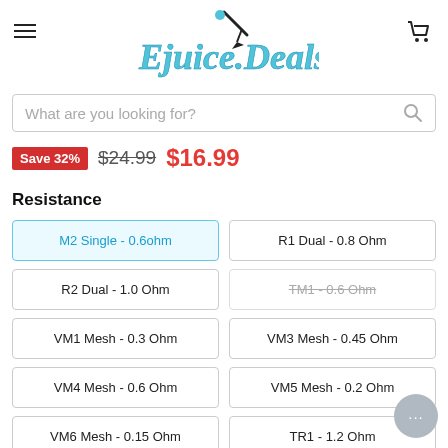[Figure (logo): Ejuice.Deals logo with dropper icon in teal/blue script font]
What are you looking for?
Save 32%  $24.99  $16.99
Resistance
M2 Single - 0.6ohm (selected)
R1 Dual - 0.8 Ohm
R2 Dual - 1.0 Ohm
TM1 - 0.6 Ohm (unavailable)
VM1 Mesh - 0.3 Ohm
VM3 Mesh - 0.45 Ohm
VM4 Mesh - 0.6 Ohm
VM5 Mesh - 0.2 Ohm
VM6 Mesh - 0.15 Ohm
TR1 - 1.2 Ohm